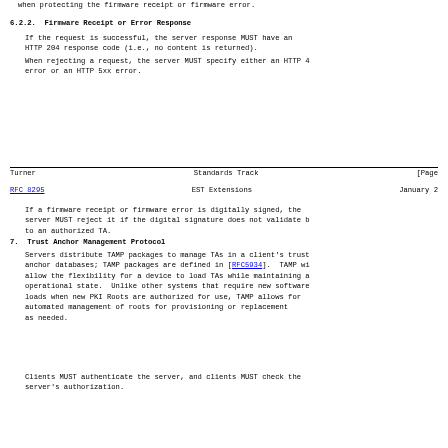when protecting the firmware receipt or firmware error.
6.2.2.  Firmware Receipt or Error Response
If the request is successful, the server response MUST have an HTTP 204 response code (i.e., no content is returned).
When rejecting a request, the server MUST specify either an HTTP 4 error or an HTTP 5xx error.
Turner                          Standards Track                    [Page
RFC 8295                      EST Extensions                   January 2
If a firmware receipt or firmware error is digitally signed, the server MUST reject it if the digital signature does not validate b to an authorized TA.
7.  Trust Anchor Management Protocol
Servers distribute TAMP packages to manage TAs in a client's trust anchor databases; TAMP packages are defined in [RFC5934].  TAMP wi allow the flexibility for a device to load TAs while maintaining a operational state.  Unlike other systems that require new software loads when new PKI Roots are authorized for use, TAMP allows for automated management of roots for provisioning or replacement as needed.
Clients MUST authenticate the server, and clients MUST check the server's authorization.